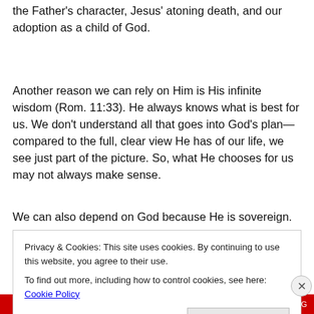the Father's character, Jesus' atoning death, and our adoption as a child of God.
Another reason we can rely on Him is His infinite wisdom (Rom. 11:33). He always knows what is best for us. We don't understand all that goes into God's plan—compared to the full, clear view He has of our life, we see just part of the picture. So, what He chooses for us may not always make sense.
We can also depend on God because He is sovereign.
Remember that our Father can accomplish whatever He
Privacy & Cookies: This site uses cookies. By continuing to use this website, you agree to their use.
To find out more, including how to control cookies, see here: Cookie Policy